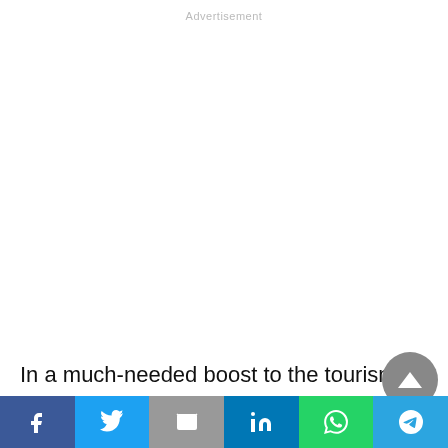Advertisement
In a much-needed boost to the tourism sector, night flight operations have started at Srinagar airport bringing cheers to the travel and hospitality
[Figure (other): Social media share bar with buttons for Facebook, Twitter, Email, LinkedIn, WhatsApp, and Telegram]